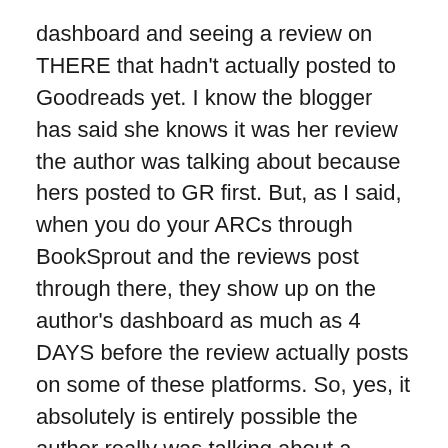dashboard and seeing a review on THERE that hadn't actually posted to Goodreads yet. I know the blogger has said she knows it was her review the author was talking about because hers posted to GR first. But, as I said, when you do your ARCs through BookSprout and the reviews post through there, they show up on the author's dashboard as much as 4 DAYS before the review actually posts on some of these platforms. So, yes, it absolutely is entirely possible the author really was talking about a completely different review that only she could see on GR at the time.
These “assumptions” being made are the very reason why no one should ever confront anyone about a bad review. It wasn’t okay for the blogger to confront the author over her posting in her own space about the review, any more than